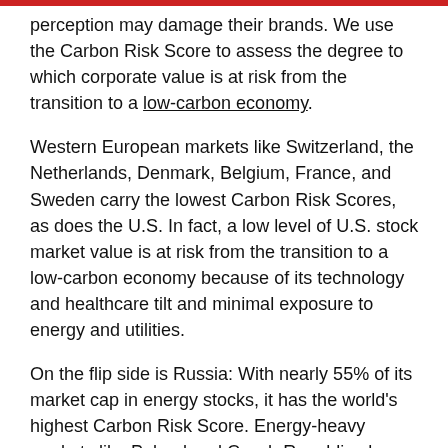perception may damage their brands. We use the Carbon Risk Score to assess the degree to which corporate value is at risk from the transition to a low-carbon economy.
Western European markets like Switzerland, the Netherlands, Denmark, Belgium, France, and Sweden carry the lowest Carbon Risk Scores, as does the U.S. In fact, a low level of U.S. stock market value is at risk from the transition to a low-carbon economy because of its technology and healthcare tilt and minimal exposure to energy and utilities.
On the flip side is Russia: With nearly 55% of its market cap in energy stocks, it has the world's highest Carbon Risk Score. Energy-heavy markets like Poland and Czech Republic also carry significant carbon risk. The full set of rankings is shown on the map below.